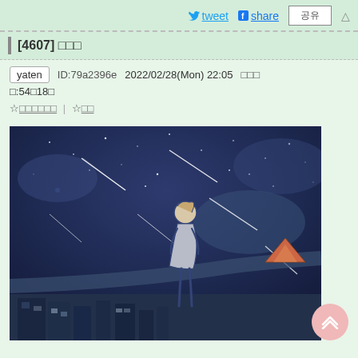tweet share 공유 △
[4607] □□□
yaten  ID:79a2396e  2022/02/28(Mon) 22:05 □□□□:54□18□
☆□□□□□□ | ☆□□
[Figure (illustration): Pixel/digital art illustration of an anime-style character standing on a rooftop or elevated area, looking up at a starry night sky with shooting stars/meteors. The scene has a dark blue/purple color palette with white star streaks across the sky and a city visible in the background.]